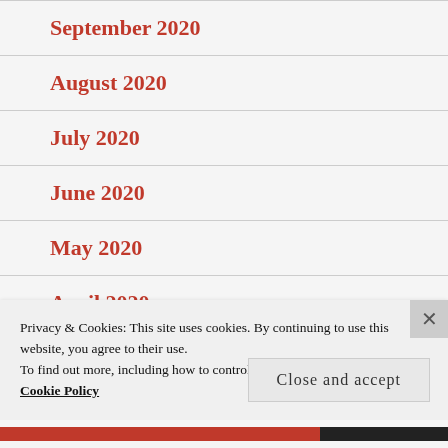September 2020
August 2020
July 2020
June 2020
May 2020
April 2020 (partial)
Privacy & Cookies: This site uses cookies. By continuing to use this website, you agree to their use.
To find out more, including how to control cookies, see here:
Cookie Policy
Close and accept